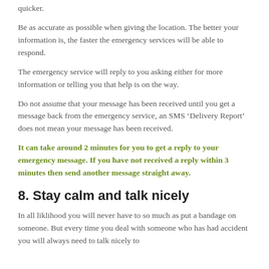quicker.
Be as accurate as possible when giving the location. The better your information is, the faster the emergency services will be able to respond.
The emergency service will reply to you asking either for more information or telling you that help is on the way.
Do not assume that your message has been received until you get a message back from the emergency service, an SMS ‘Delivery Report’ does not mean your message has been received.
It can take around 2 minutes for you to get a reply to your emergency message. If you have not received a reply within 3 minutes then send another message straight away.
8. Stay calm and talk nicely
In all liklihood you will never have to so much as put a bandage on someone. But every time you deal with someone who has had accident you will always need to talk nicely to them.